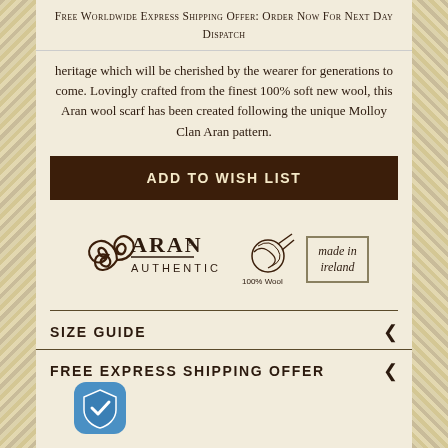Free Worldwide Express Shipping Offer: Order Now For Next Day Dispatch
heritage which will be cherished by the wearer for generations to come. Lovingly crafted from the finest 100% soft new wool, this Aran wool scarf has been created following the unique Molloy Clan Aran pattern.
ADD TO WISH LIST
[Figure (logo): Aran Authentic logo with Celtic trinity knot, 100% Wool yarn ball icon, and Made in Ireland badge]
SIZE GUIDE
FREE EXPRESS SHIPPING OFFER